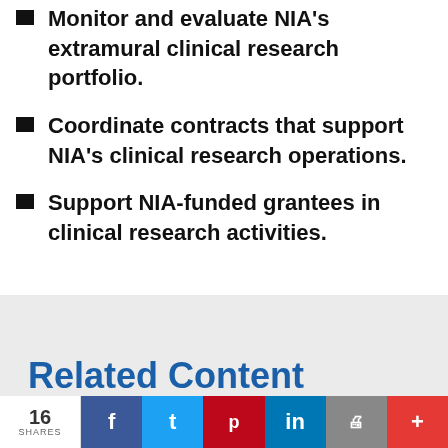Monitor and evaluate NIA's extramural clinical research portfolio.
Coordinate contracts that support NIA's clinical research operations.
Support NIA-funded grantees in clinical research activities.
Related Content
16 SHARES  f  t  p  in  print  +